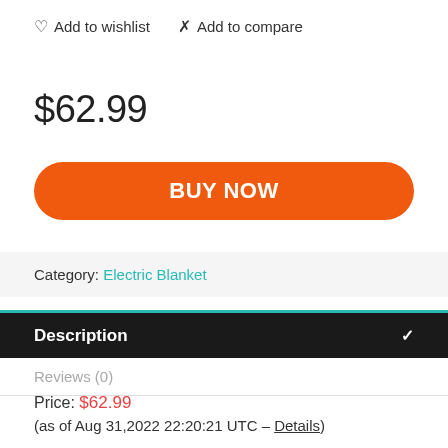♡ Add to wishlist   ✗ Add to compare
$62.99
BUY NOW
Category: Electric Blanket
Description
Reviews (0)
Price: $62.99
(as of Aug 31,2022 22:20:21 UTC – Details)